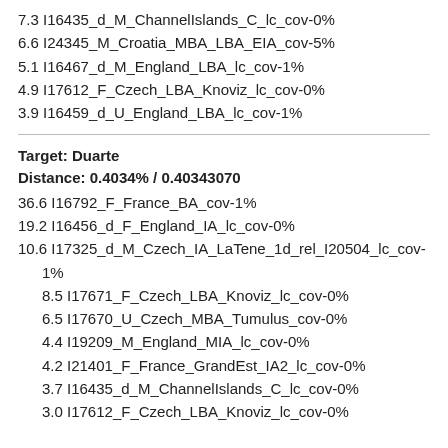7.3 I16435_d_M_ChannelIslands_C_lc_cov-0%
6.6 I24345_M_Croatia_MBA_LBA_EIA_cov-5%
5.1 I16467_d_M_England_LBA_lc_cov-1%
4.9 I17612_F_Czech_LBA_Knoviz_lc_cov-0%
3.9 I16459_d_U_England_LBA_lc_cov-1%
Target: Duarte
Distance: 0.4034% / 0.40343070
36.6 I16792_F_France_BA_cov-1%
19.2 I16456_d_F_England_IA_lc_cov-0%
10.6 I17325_d_M_Czech_IA_LaTene_1d_rel_I20504_lc_cov-1%
8.5 I17671_F_Czech_LBA_Knoviz_lc_cov-0%
6.5 I17670_U_Czech_MBA_Tumulus_cov-0%
4.4 I19209_M_England_MIA_lc_cov-0%
4.2 I21401_F_France_GrandEst_IA2_lc_cov-0%
3.7 I16435_d_M_ChannelIslands_C_lc_cov-0%
3.0 I17612_F_Czech_LBA_Knoviz_lc_cov-0%